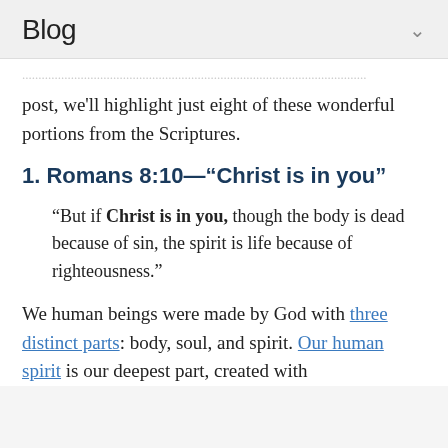Blog
post, we'll highlight just eight of these wonderful portions from the Scriptures.
1. Romans 8:10—“Christ is in you”
“But if Christ is in you, though the body is dead because of sin, the spirit is life because of righteousness.”
We human beings were made by God with three distinct parts: body, soul, and spirit. Our human spirit is our deepest part, created with